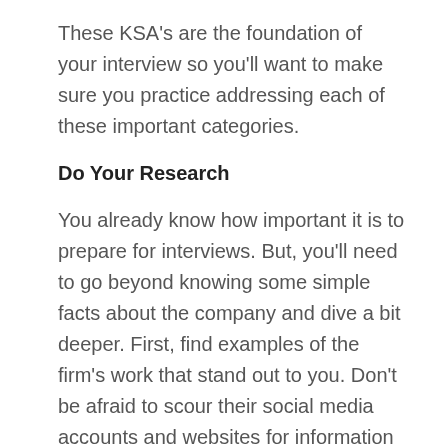These KSA's are the foundation of your interview so you'll want to make sure you practice addressing each of these important categories.
Do Your Research
You already know how important it is to prepare for interviews. But, you'll need to go beyond knowing some simple facts about the company and dive a bit deeper. First, find examples of the firm's work that stand out to you. Don't be afraid to scour their social media accounts and websites for information – this is the time to investigate!
Next, take some time to figure out what it's like to work at the company (hint: culture!). Look for things such as